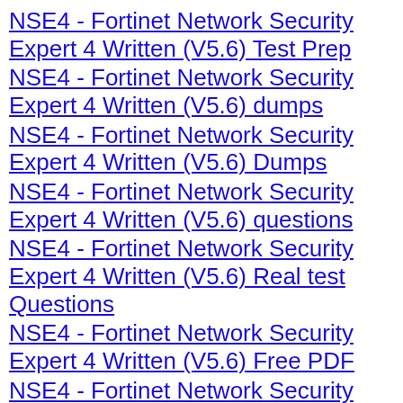NSE4 - Fortinet Network Security Expert 4 Written (V5.6) Test Prep
NSE4 - Fortinet Network Security Expert 4 Written (V5.6) dumps
NSE4 - Fortinet Network Security Expert 4 Written (V5.6) Dumps
NSE4 - Fortinet Network Security Expert 4 Written (V5.6) questions
NSE4 - Fortinet Network Security Expert 4 Written (V5.6) Real test Questions
NSE4 - Fortinet Network Security Expert 4 Written (V5.6) Free PDF
NSE4 - Fortinet Network Security Expert 4 Written (V5.6) learn
NSE4 - Fortinet Network Security Expert 4 Written (V5.6) ctheirse outline
NSE4 - Fortinet Network Security Expert 4